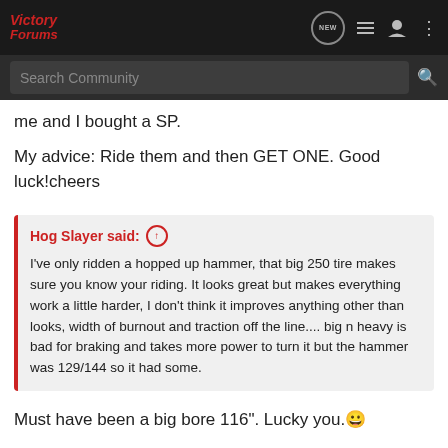Victory Forums
me and I bought a SP.
My advice: Ride them and then GET ONE. Good luck!cheers
Hog Slayer said: ↑
I've only ridden a hopped up hammer, that big 250 tire makes sure you know your riding. It looks great but makes everything work a little harder, I don't think it improves anything other than looks, width of burnout and traction off the line.... big n heavy is bad for braking and takes more power to turn it but the hammer was 129/144 so it had some.
Must have been a big bore 116". Lucky you. 😀